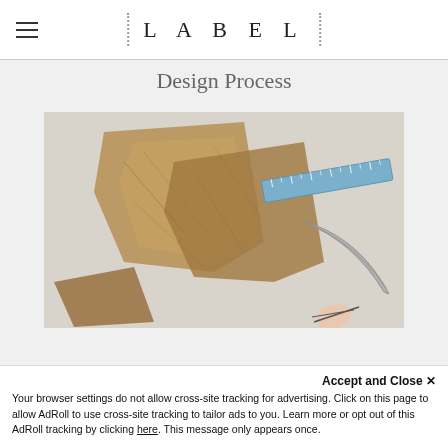LABEL
Design Process
[Figure (photo): Overhead view of a fashion design workspace showing crumpled brown kraft paper pattern pieces, a blue ruler, a curved metal tailor's ruler, and a person's hand holding scissors on a white surface.]
Accept and Close ×
Your browser settings do not allow cross-site tracking for advertising. Click on this page to allow AdRoll to use cross-site tracking to tailor ads to you. Learn more or opt out of this AdRoll tracking by clicking here. This message only appears once.